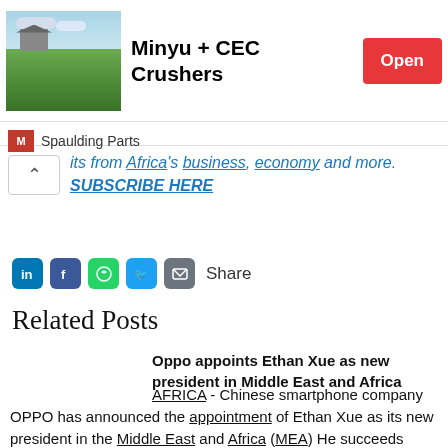[Figure (other): Advertisement banner for Minyu + CEC Crushers by Spaulding Parts, showing a golf course or green field image, with an Open button]
its from Africa's business, economy and more. SUBSCRIBE HERE
[Figure (infographic): Social share bar with LinkedIn, Facebook, WhatsApp, Twitter, Email icons and Share label]
Related Posts
Oppo appoints Ethan Xue as new president in Middle East and Africa
AFRICA - Chinese smartphone company OPPO has announced the appointment of Ethan Xue as its new president in the Middle East and Africa (MEA) He succeeds Andy Shi, the outgoing…